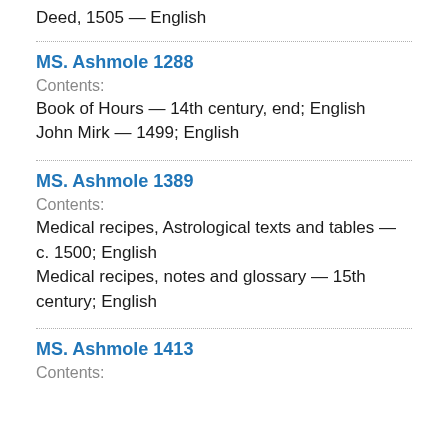Deed, 1505 — English
MS. Ashmole 1288
Contents:
Book of Hours — 14th century, end; English
John Mirk — 1499; English
MS. Ashmole 1389
Contents:
Medical recipes, Astrological texts and tables — c. 1500; English
Medical recipes, notes and glossary — 15th century; English
MS. Ashmole 1413
Contents: